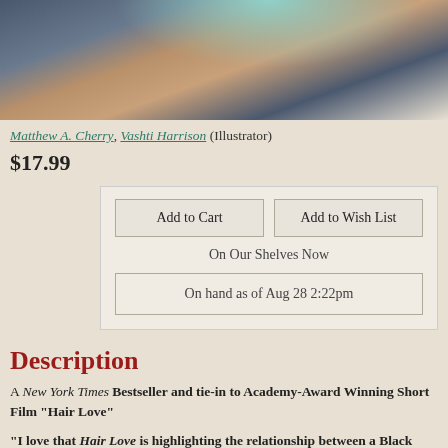[Figure (illustration): Close-up illustration of a Black father and daughter from a children's book, showing legs/body in warm brown tones with blue/gray clothing and teal/sparkle background elements]
Matthew A. Cherry, Vashti Harrison (Illustrator)
$17.99
Add to Cart | Add to Wish List
On Our Shelves Now
On hand as of Aug 28 2:22pm
Description
A New York Times Bestseller and tie-in to Academy-Award Winning Short Film "Hair Love"
"I love that Hair Love is highlighting the relationship between a Black father and daughter. Matthew leads the ranks of new creatives who are telling unique stories of the Black experience. We need this."
    - Jordan Peele, Actor & Filmmaker
It's up to Daddy to give his daughter an extra-special hair style in this ode to self-confidence and the love between fathers and